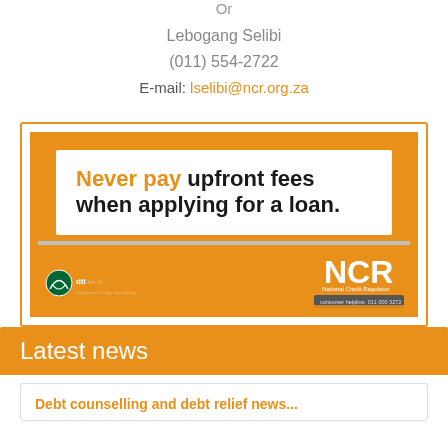Or
Lebogang Selibi
(011)  554-2722
E-mail: lselibi@ncr.org.za
[Figure (infographic): NCR advertisement: 'Never pay upfront fees when applying for a loan.' with dti and NCR logos at the bottom on an orange background.]
Latest news
Debt counselling and debt relief news...